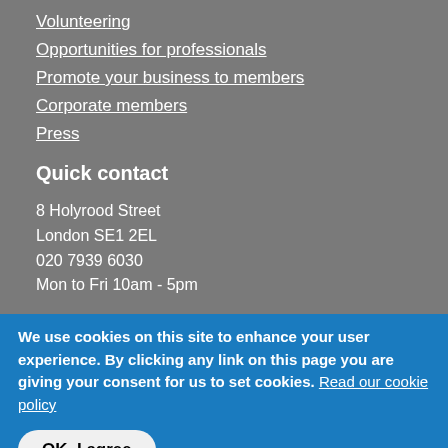Volunteering
Opportunities for professionals
Promote your business to members
Corporate members
Press
Quick contact
8 Holyrood Street
London SE1 2EL
020 7939 6030
Mon to Fri 10am - 5pm
We use cookies on this site to enhance your user experience. By clicking any link on this page you are giving your consent for us to set cookies. Read our cookie policy
OK, I agree